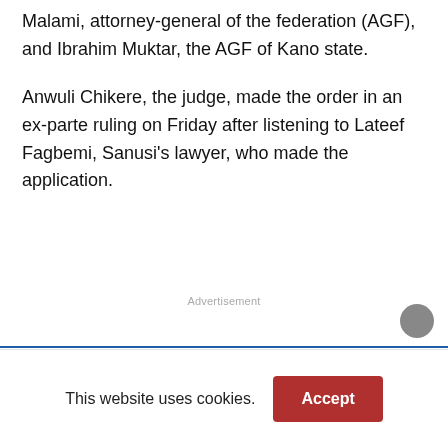Malami, attorney-general of the federation (AGF), and Ibrahim Muktar, the AGF of Kano state.
Anwuli Chikere, the judge, made the order in an ex-parte ruling on Friday after listening to Lateef Fagbemi, Sanusi’s lawyer, who made the application.
Advertisement
This website uses cookies.